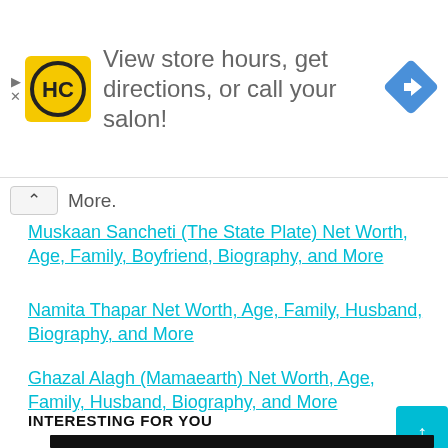[Figure (infographic): Advertisement banner: HC logo (yellow square with HC text), ad text 'View store hours, get directions, or call your salon!', blue diamond direction arrow icon]
More.
Muskaan Sancheti (The State Plate) Net Worth, Age, Family, Boyfriend, Biography, and More
Namita Thapar Net Worth, Age, Family, Husband, Biography, and More
Ghazal Alagh (Mamaearth) Net Worth, Age, Family, Husband, Biography, and More
INTERESTING FOR YOU
[Figure (photo): Dark video thumbnail showing a hand holding something, partially lit with teal/blue light]